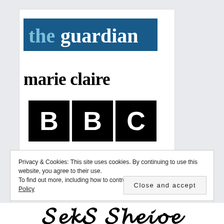[Figure (logo): The Guardian newspaper logo - blue and dark blue banner with white text reading 'theguardian']
[Figure (logo): Marie Claire magazine logo - bold serif black text 'marie claire']
[Figure (logo): BBC logo - three black squares each containing a white letter B, B, C]
Privacy & Cookies: This site uses cookies. By continuing to use this website, you agree to their use.
To find out more, including how to control cookies, see here: Cookie Policy
[Figure (logo): Partially visible decorative/stylized logo text at the bottom of the page]